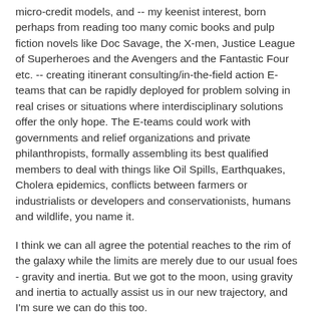micro-credit models, and -- my keenist interest, born perhaps from reading too many comic books and pulp fiction novels like Doc Savage, the X-men, Justice League of Superheroes and the Avengers and the Fantastic Four etc. -- creating itinerant consulting/in-the-field action E-teams that can be rapidly deployed for problem solving in real crises or situations where interdisciplinary solutions offer the only hope. The E-teams could work with governments and relief organizations and private philanthropists, formally assembling its best qualified members to deal with things like Oil Spills, Earthquakes, Cholera epidemics, conflicts between farmers or industrialists or developers and conservationists, humans and wildlife, you name it.
I think we can all agree the potential reaches to the rim of the galaxy while the limits are merely due to our usual foes - gravity and inertia. But we got to the moon, using gravity and inertia to actually assist us in our new trajectory, and I'm sure we can do this too.
If you have read all of this, you are probably an Explorer and valuable contributor to the E-team too, and you probably